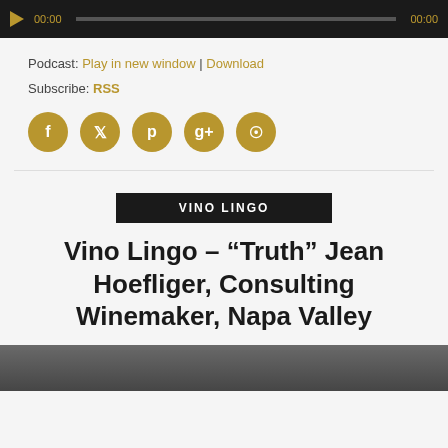[Figure (screenshot): Audio player bar with play button, progress bar, and time indicators showing 00:00]
Podcast: Play in new window | Download
Subscribe: RSS
[Figure (infographic): Five gold circular social media icons: Facebook, Twitter, Pinterest, Google+, StumbleUpon]
VINO LINGO
Vino Lingo – “Truth” Jean Hoefliger, Consulting Winemaker, Napa Valley
[Figure (photo): Partial thumbnail image at bottom of page, dark toned]